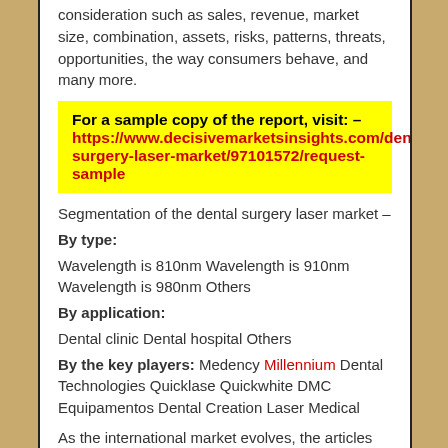consideration such as sales, revenue, market size, combination, assets, risks, patterns, threats, opportunities, the way consumers behave, and many more.
For a sample copy of the report, visit: – https://www.decisivemarketsinsights.com/dental-surgery-laser-market/97101572/request-sample
Segmentation of the dental surgery laser market –
By type:
Wavelength is 810nm Wavelength is 910nm Wavelength is 980nm Others
By application:
Dental clinic Dental hospital Others
By the key players: Medency Millennium Dental Technologies Quicklase Quickwhite DMC Equipamentos Dental Creation Laser Medical
As the international market evolves, the articles have outlined all the critical components that